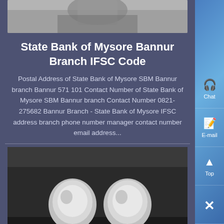[Figure (photo): Top portion of a photograph showing a metallic/mechanical object, partially visible at the top of the page]
State Bank of Mysore Bannur Branch IFSC Code
Postal Address of State Bank of Mysore SBM Bannur branch Bannur 571 101 Contact Number of State Bank of Mysore SBM Bannur branch Contact Number 0821-275682 Bannur Branch - State Bank of Mysore IFSC address branch phone number manager contact number email address...
[Figure (photo): Photograph of two metallic valve or tap fixtures mounted on a dark surface]
Ifsc Code SBIN0040272 State Bank Of India Yadavagiri